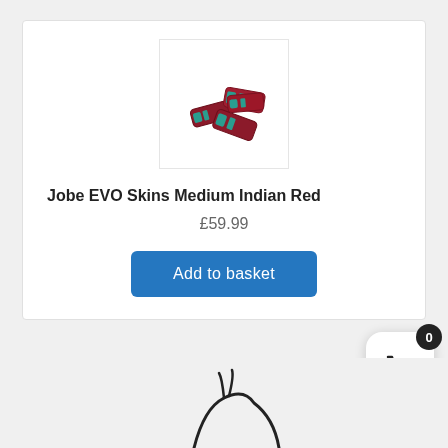[Figure (photo): Product image of Jobe EVO Skins Medium Indian Red - dark red/maroon colored water ski/wakeboard bindings shown at an angle]
Jobe EVO Skins Medium Indian Red
£59.99
Add to basket
[Figure (infographic): Shopping basket widget with badge showing 0 items, white rounded square button with basket icon]
[Figure (photo): Partial image of another product visible at the bottom of the page]